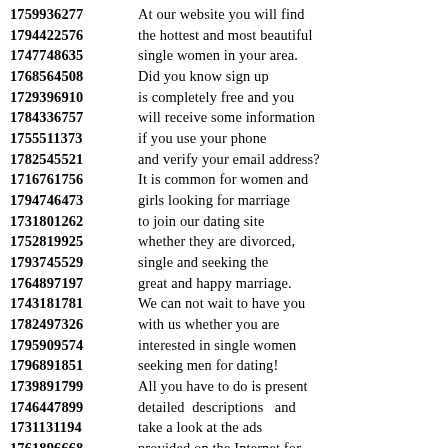1759936277 At our website you will find
1794422576 the hottest and most beautiful
1747748635 single women in your area.
1768564508 Did you know sign up
1729396910 is completely free and you
1784336757 will receive some information
1755511373 if you use your phone
1782545521 and verify your email address?
1716761756 It is common for women and
1794746473 girls looking for marriage
1731801262 to join our dating site
1752819925 whether they are divorced,
1793745529 single and seeking the
1764897197 great and happy marriage.
1743181781 We can not wait to have you
1782497326 with us whether you are
1795909574 interested in single women
1796891851 seeking men for dating!
1739891799 All you have to do is present
1746447899 detailed descriptions and
1731131194 take a look at the ads
1761896668 provided on the Internet for
1763970805 now and start connecting with
1776105632 women are looking for men who
1793772776 are most relevant to you.